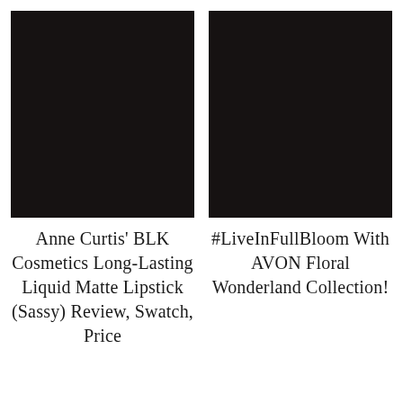[Figure (photo): Dark/black image placeholder on the left side]
[Figure (photo): Dark/black image placeholder on the right side]
Anne Curtis' BLK Cosmetics Long-Lasting Liquid Matte Lipstick (Sassy) Review, Swatch, Price
#LiveInFullBloom With AVON Floral Wonderland Collection!